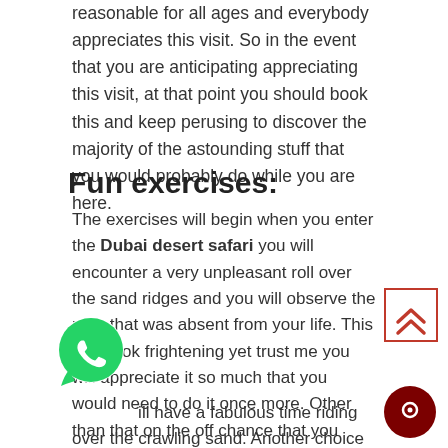reasonable for all ages and everybody appreciates this visit. So in the event that you are anticipating appreciating this visit, at that point you should book this and keep perusing to discover the majority of the astounding stuff that you would probably do while you are here.
Fun exercises:
The exercises will begin when you enter the Dubai desert safari you will encounter a very unpleasant roll over the sand ridges and you will observe the rush that was absent from your life. This may look frightening yet trust me you will appreciate it so much that you would need to do it once more. Other than that on the off chance that you wish to encounter an individual dimension of rush, at that point you can lease the quad bicycles or the sand loads up which are available there are have the best of a great time.
will have a fabulous time riding over the crawling sand. Another choice that you may discover once you are there on
[Figure (other): Back-to-top button with double chevron up arrow, red border]
[Figure (logo): WhatsApp green circle logo icon]
[Figure (other): Dark red circular chat/contact button]